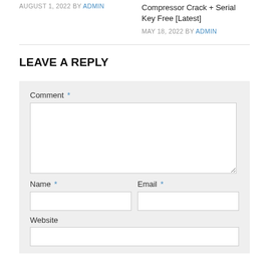AUGUST 1, 2022 BY ADMIN
Compressor Crack + Serial Key Free [Latest]
MAY 18, 2022 BY ADMIN
LEAVE A REPLY
Comment *
Name *
Email *
Website